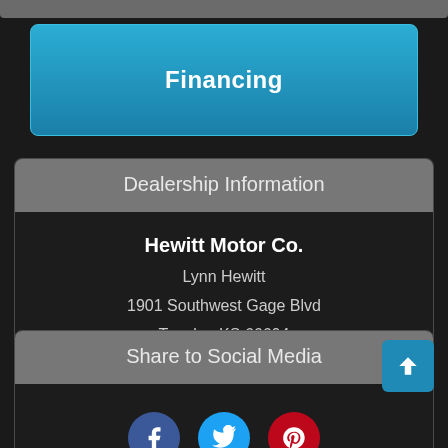Financing
Dealership Information
Hewitt Motor Co.
Lynn Hewitt
1901 Southwest Gage Blvd
Topeka, KS 66604
785-272-2514
Share to Social Media
[Figure (illustration): Social media icons: Facebook, Twitter, Pinterest circles partially visible at bottom]